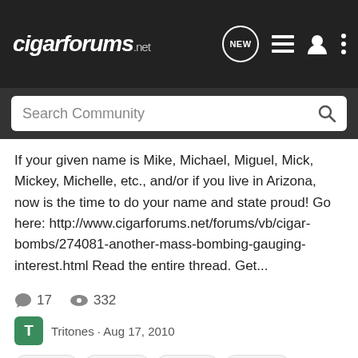cigarforums.net
If your given name is Mike, Michael, Miguel, Mick, Mickey, Michelle, etc., and/or if you live in Arizona, now is the time to do your name and state proud! Go here: http://www.cigarforums.net/forums/vb/cigar-bombs/274081-another-mass-bombing-gauging-interest.html Read the entire thread. Get...
17  332
Tritones · Aug 17, 2010
arizonies  attention  michaels  michelles  mikes  puff
Attention all that have Enjoyed Noob PIF
Cigar PIF's & MAW's
Hey, I have recently Removed the Join Date Restriction on